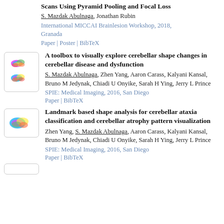Scans Using Pyramid Pooling and Focal Loss
S. Mazdak Abulnaga, Jonathan Rubin
International MICCAI Brainlesion Workshop, 2018, Granada
Paper | Poster | BibTeX
[Figure (illustration): Thumbnail image of colorful 3D brain/cerebellar shapes]
A toolbox to visually explore cerebellar shape changes in cerebellar disease and dysfunction
S. Mazdak Abulnaga, Zhen Yang, Aaron Carass, Kalyani Kansal, Bruno M Jedynak, Chiadi U Onyike, Sarah H Ying, Jerry L Prince
SPIE: Medical Imaging, 2016, San Diego
Paper | BibTeX
[Figure (illustration): Thumbnail image of colorful 3D cerebellar shape]
Landmark based shape analysis for cerebellar ataxia classification and cerebellar atrophy pattern visualization
Zhen Yang, S. Mazdak Abulnaga, Aaron Carass, Kalyani Kansal, Bruno M Jedynak, Chiadi U Onyike, Sarah H Ying, Jerry L Prince
SPIE: Medical Imaging, 2016, San Diego
Paper | BibTeX